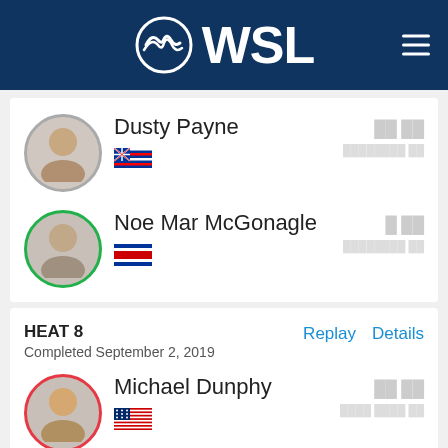[Figure (logo): WSL (World Surf League) logo with wave icon on dark blue header background, with hamburger menu icon on the right]
Dusty Payne
[Figure (illustration): Hawaii state flag]
Noe Mar McGonagle
[Figure (illustration): Costa Rica flag]
HEAT 8
Completed September 2, 2019
Replay
Details
Michael Dunphy
[Figure (illustration): USA flag]
Lucca Mesinas
[Figure (illustration): Peru flag]